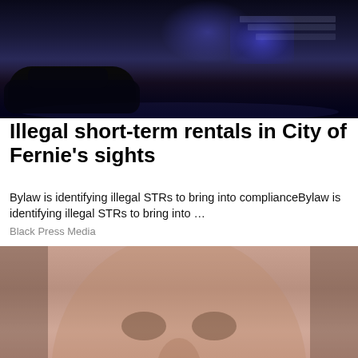[Figure (photo): Dark nighttime outdoor scene with blue/purple lighting, cars and structures visible]
Illegal short-term rentals in City of Fernie's sights
Bylaw is identifying illegal STRs to bring into complianceBylaw is identifying illegal STRs to bring into …
Black Press Media
[Figure (photo): Close-up photo of a smiling man with beard/goatee, face cropped to show nose, mouth, and cheeks]
[Figure (infographic): Advertisement banner: Looking for work or a new career? Featuring 15+ Exhibitors and Growing! September 8th, 11AM-3PM CLICK HERE. Industry Sponsor: Interior Health]